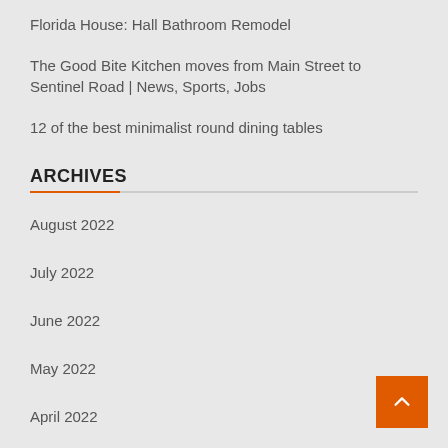Florida House: Hall Bathroom Remodel
The Good Bite Kitchen moves from Main Street to Sentinel Road | News, Sports, Jobs
12 of the best minimalist round dining tables
ARCHIVES
August 2022
July 2022
June 2022
May 2022
April 2022
March 2022